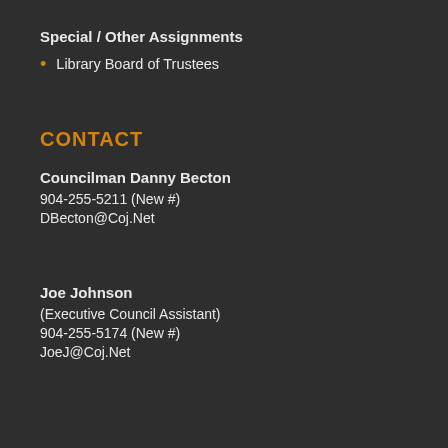Special / Other Assignments
Library Board of Trustees
CONTACT
Councilman Danny Becton
904-255-5211 (New #)
DBecton@Coj.Net
Joe Johnson
(Executive Council Assistant)
904-255-5174 (New #)
JoeJ@Coj.Net